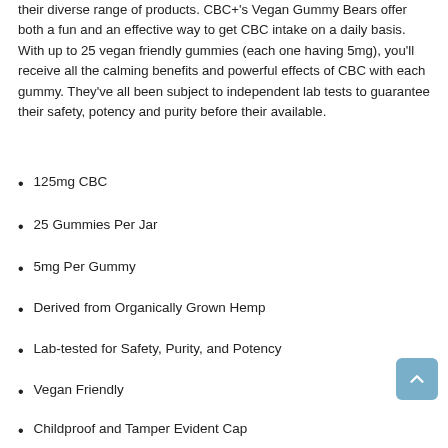their diverse range of products. CBC+'s Vegan Gummy Bears offer both a fun and an effective way to get CBC intake on a daily basis. With up to 25 vegan friendly gummies (each one having 5mg), you'll receive all the calming benefits and powerful effects of CBC with each gummy. They've all been subject to independent lab tests to guarantee their safety, potency and purity before their available.
125mg CBC
25 Gummies Per Jar
5mg Per Gummy
Derived from Organically Grown Hemp
Lab-tested for Safety, Purity, and Potency
Vegan Friendly
Childproof and Tamper Evident Cap